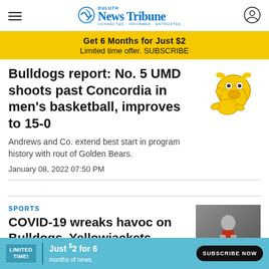Duluth News Tribune
Get 6 Months for Just $2
Limited time offer. SUBSCRIBE
Bulldogs report: No. 5 UMD shoots past Concordia in men’s basketball, improves to 15-0
Andrews and Co. extend best start in program history with rout of Golden Bears.
January 08, 2022 07:50 PM
SPORTS
COVID-19 wreaks havoc on Bulldogs, Yellowjackets, Saints hockey
The Twin... the brunt of the latest COVID-19 surge
LIMITED TIME! Just $2 for 6 months of news. SUBSCRIBE NOW